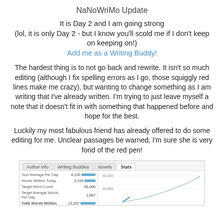NaNoWriMo Update
It is Day 2 and I am going strong
(lol, it is only Day 2 - but I know you'll scold me if I don't keep on keeping on!)
Add me as a Writing Buddy!
The hardest thing is to not go back and rewrite. It isn't so much editing (although I fix spelling errors as I go, those squiggly red lines make me crazy), but wanting to change something as I am writing that I've already written. I'm trying to just leave myself a note that it doesn't fit in with something that happened before and hope for the best.
Luckily my most fabulous friend has already offered to do some editing for me. Unclear passages be warned, I'm sure she is very fond of the red pen!
[Figure (screenshot): NaNoWriMo stats screenshot showing Author Info, Writing Buddies, Novels, Stats tabs. Stats include Your Average Per Day, Words Written Today, Target Word Count (50,000), Target Average Words Per Day (1,667), Total Words Written (12,207). A line chart is partially visible on the right showing cumulative word count progress toward 50,000 words.]